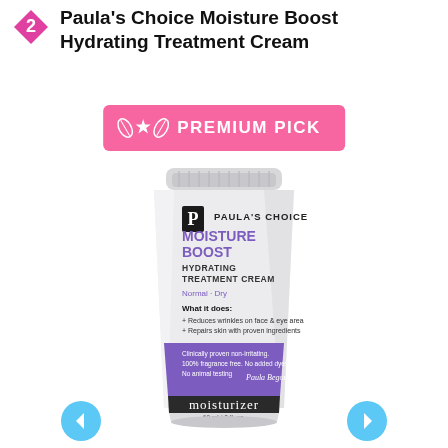Paula's Choice Moisture Boost Hydrating Treatment Cream
[Figure (infographic): Pink rounded rectangle badge with leaf/star icons and text PREMIUM PICK in white bold letters on hot pink background]
[Figure (photo): Paula's Choice Moisture Boost Hydrating Treatment Cream tube product photo. White tube with purple band at bottom. Shows brand logo, product name MOISTURE BOOST HYDRATING TREATMENT CREAM, Normal-Dry skin type, What it does: Reduces wrinkles on face & eye area, Repairs skin with proven ingredients. Purple band reads: Clinically proven non-irritating. 100% fragrance free. No added dyes. No animal testing. Paula Begoun signature. Black band at bottom reads moisturizer. 60ml / 2 fl. oz.]